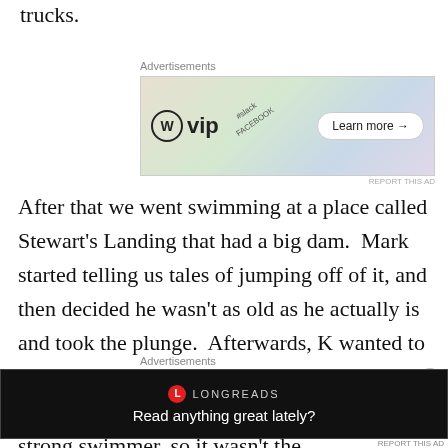trucks.
[Figure (screenshot): WordPress VIP advertisement banner showing WP VIP logo with Slack, Facebook logos and a Learn more button]
After that we went swimming at a place called Stewart's Landing that had a big dam.  Mark started telling us tales of jumping off of it, and then decided he wasn't as old as he actually is and took the plunge.  Afterwards, K wanted to try.  I was nervous, watching her climb over the railing and standing on the edge.  She's a strong swimmer, so it wasn't the
[Figure (screenshot): Longreads advertisement banner with dark background showing Longreads logo and text 'Read anything great lately?']